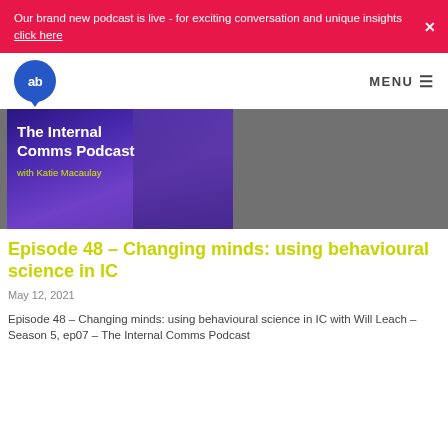Our brand new podcast is live - for exciting conversation and unique insights click here
[Figure (logo): AB logo - blue circle with 'ab' text and speech bubble shape]
MENU ☰
[Figure (photo): The Internal Comms Podcast with Katie Macaulay - purple/blue branded podcast cover image]
Episode 48 – Changing minds: using behavioural science in IC
May 12, 2021
Episode 48 – Changing minds: using behavioural science in IC with Will Leach – Season 5, ep07 – The Internal Comms Podcast